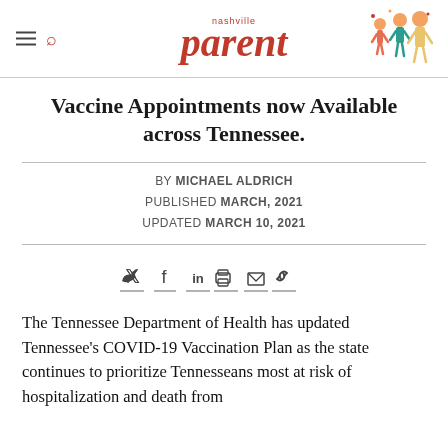nashville parent
Vaccine Appointments now Available across Tennessee.
BY MICHAEL ALDRICH
PUBLISHED MARCH, 2021
UPDATED MARCH 10, 2021
[Figure (infographic): Social sharing icons: Twitter, Facebook, LinkedIn, Print, Email, Link]
The Tennessee Department of Health has updated Tennessee's COVID-19 Vaccination Plan as the state continues to prioritize Tennesseans most at risk of hospitalization and death from